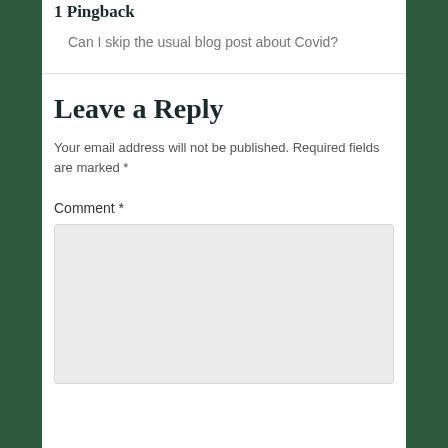1 Pingback
Can I skip the usual blog post about Covid?
Leave a Reply
Your email address will not be published. Required fields are marked *
Comment *